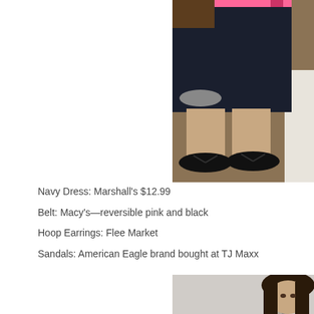[Figure (photo): Photo of lower body wearing a navy dress with a pink/black reversible belt, and black flip-flop sandals on carpet floor]
Navy Dress: Marshall's $12.99
Belt: Macy's—reversible pink and black
Hoop Earrings: Flee Market
Sandals: American Eagle brand bought at TJ Maxx
[Figure (photo): Photo of a person's face with dark hair, taken in a mirror or room setting]